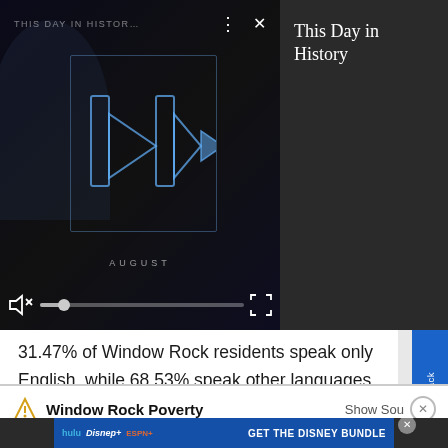[Figure (screenshot): Video player showing 'This Day in History' content with play button, mute icon, progress bar, and fullscreen button on dark background. Right panel shows title 'This Day in History' on dark grey background.]
31.47% of Window Rock residents speak only English, while 68.53% speak other languages. The non-English language spoken by the largest group is Other languages, which is spoken by 66.16% of the population.
[Figure (screenshot): Feedback tab button on right side, blue vertical tab reading 'Feedback' with star icon]
Window Rock Poverty
[Figure (screenshot): Advertisement banner for Disney Bundle featuring Hulu, Disney+, ESPN+ logos with 'GET THE DISNEY BUNDLE' call to action and close button]